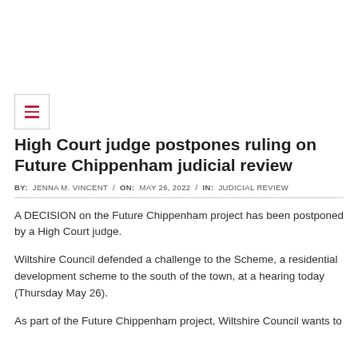High Court judge postpones ruling on Future Chippenham judicial review
BY:  JENNA M. VINCENT  /  ON:  MAY 26, 2022  /  IN:  JUDICIAL REVIEW
A DECISION on the Future Chippenham project has been postponed by a High Court judge.
Wiltshire Council defended a challenge to the Scheme, a residential development scheme to the south of the town, at a hearing today (Thursday May 26).
As part of the Future Chippenham project, Wiltshire Council wants to